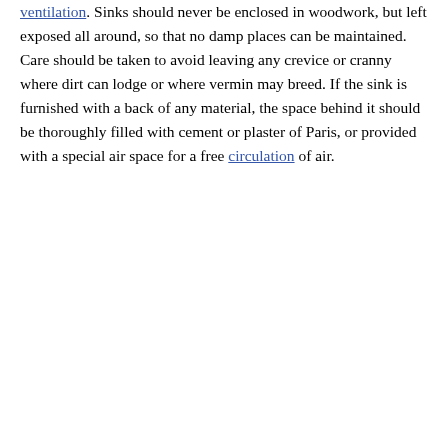ventilation. Sinks should never be enclosed in woodwork, but left exposed all around, so that no damp places can be maintained. Care should be taken to avoid leaving any crevice or cranny where dirt can lodge or where vermin may breed. If the sink is furnished with a back of any material, the space behind it should be thoroughly filled with cement or plaster of Paris, or provided with a special air space for a free circulation of air.